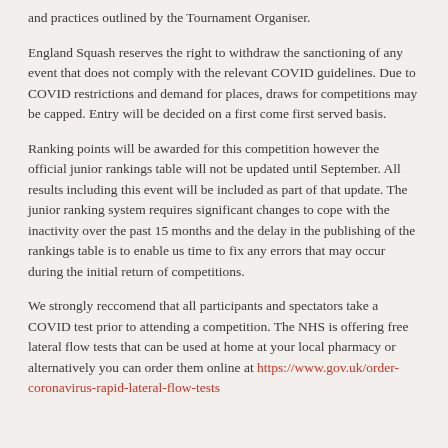and practices outlined by the Tournament Organiser.
England Squash reserves the right to withdraw the sanctioning of any event that does not comply with the relevant COVID guidelines. Due to COVID restrictions and demand for places, draws for competitions may be capped. Entry will be decided on a first come first served basis.
Ranking points will be awarded for this competition however the official junior rankings table will not be updated until September. All results including this event will be included as part of that update. The junior ranking system requires significant changes to cope with the inactivity over the past 15 months and the delay in the publishing of the rankings table is to enable us time to fix any errors that may occur during the initial return of competitions.
We strongly reccomend that all participants and spectators take a COVID test prior to attending a competition. The NHS is offering free lateral flow tests that can be used at home at your local pharmacy or alternatively you can order them online at https://www.gov.uk/order-coronavirus-rapid-lateral-flow-tests